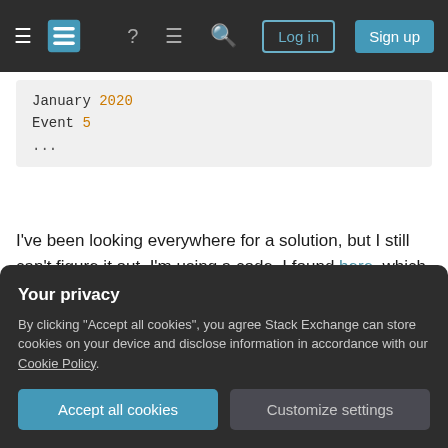Stack Exchange navigation bar with hamburger menu, logo, help, chat, search icons, Log in and Sign up buttons
January 2020
Event 5
...
I've been looking everywhere for a solution, but I still can't figure it out. I'm using a code, I found here, which I guess should do the job, but I'm not so fluent in php, so I can't figure out how to get the date at $current_year and $current_month. Right now it's looking like this:
Your privacy
By clicking "Accept all cookies", you agree Stack Exchange can store cookies on your device and disclose information in accordance with our Cookie Policy.
Accept all cookies  Customize settings